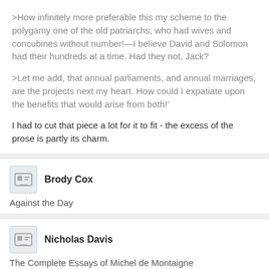>How infinitely more preferable this my scheme to the polygamy one of the old patriarchs; who had wives and concubines without number!—I believe David and Solomon had their hundreds at a time. Had they not, Jack?
>Let me add, that annual parliaments, and annual marriages, are the projects next my heart. How could I expatiate upon the benefits that would arise from both!'
I had to cut that piece a lot for it to fit - the excess of the prose is partly its charm.
Brody Cox
Against the Day
Nicholas Davis
The Complete Essays of Michel de Montaigne